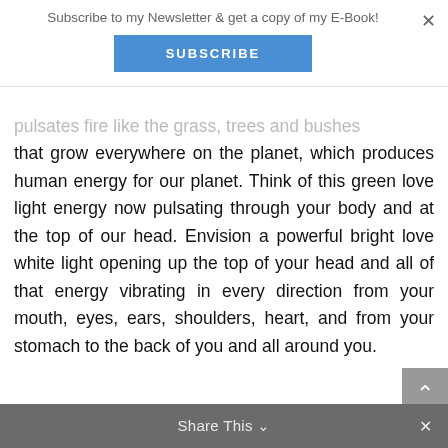Subscribe to my Newsletter & get a copy of my E-Book!
SUBSCRIBE
pulsates fire like the grass, trees and bushes that grow everywhere on the planet, which produces human energy for our planet. Think of this green love light energy now pulsating through your body and at the top of our head. Envision a powerful bright love white light opening up the top of your head and all of that energy vibrating in every direction from your mouth, eyes, ears, shoulders, heart, and from your stomach to the back of you and all around you.
Share This ∨